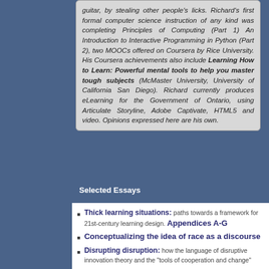guitar, by stealing other people's licks. Richard's first formal computer science instruction of any kind was completing Principles of Computing (Part 1) An Introduction to Interactive Programming in Python (Part 2), two MOOCs offered on Coursera by Rice University. His Coursera achievements also include Learning How to Learn: Powerful mental tools to help you master tough subjects (McMaster University, University of California San Diego). Richard currently produces eLearning for the Government of Ontario, using Articulate Storyline, Adobe Captivate, HTML5 and video. Opinions expressed here are his own.
Selected Essays
Thick learning situations: paths towards a framework for 21st-century learning design. Appendices A-G
Conceptualizing the idea of race as a discourse
Disrupting disruption: how the language of disruptive innovation theory and the "tools of cooperation and change"